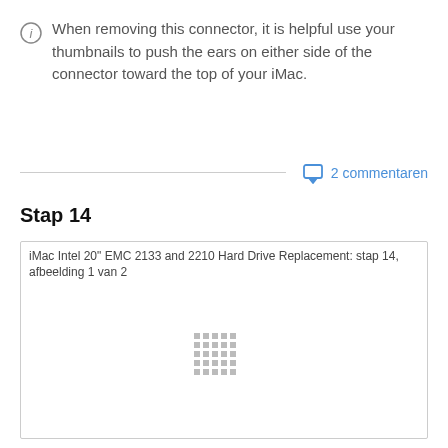When removing this connector, it is helpful use your thumbnails to push the ears on either side of the connector toward the top of your iMac.
2 commentaren
Stap 14
[Figure (photo): iMac Intel 20" EMC 2133 and 2210 Hard Drive Replacement: stap 14, afbeelding 1 van 2 — image loading placeholder with dot grid]